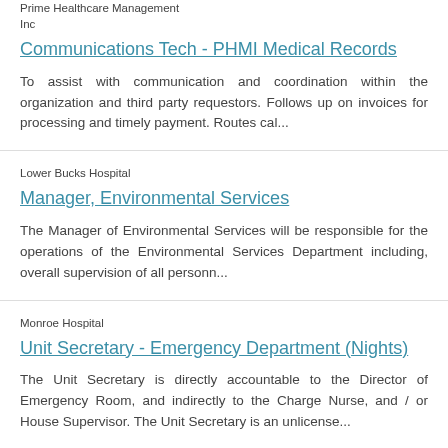Prime Healthcare Management Inc
Communications Tech - PHMI Medical Records
To assist with communication and coordination within the organization and third party requestors. Follows up on invoices for processing and timely payment. Routes cal...
Lower Bucks Hospital
Manager, Environmental Services
The Manager of Environmental Services will be responsible for the operations of the Environmental Services Department including, overall supervision of all personn...
Monroe Hospital
Unit Secretary - Emergency Department (Nights)
The Unit Secretary is directly accountable to the Director of Emergency Room, and indirectly to the Charge Nurse, and / or House Supervisor. The Unit Secretary is an unlicense...